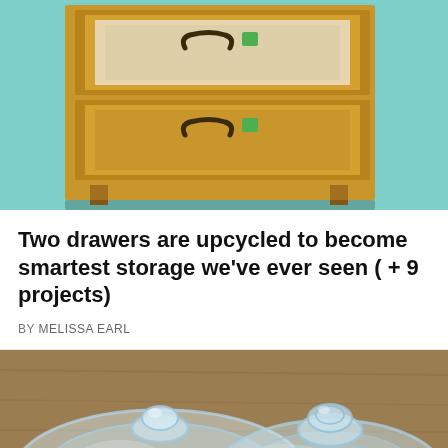[Figure (photo): Wooden drawer unit with two open drawers showing wooden construction with metal handles, green sticker dots visible, on a dark floor background with teal/mint border]
Two drawers are upcycled to become smartest storage we've ever seen ( + 9 projects)
BY MELISSA EARL
[Figure (photo): Two glass pot lids lying upside down on a wooden surface, one smaller and one larger, both showing glass knobs and circular ridges]